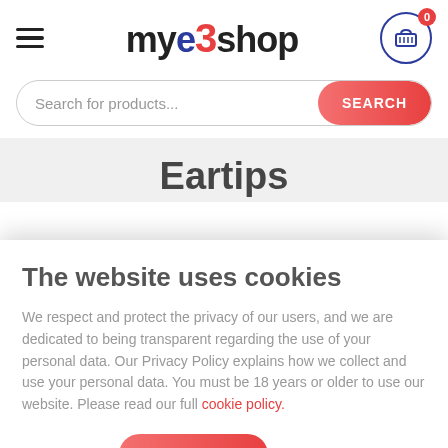mye3shop header with hamburger menu, logo, and cart icon showing 0 items
Search for products...
Eartips
The website uses cookies
We respect and protect the privacy of our users, and we are dedicated to being transparent regarding the use of your personal data. Our Privacy Policy explains how we collect and use your personal data. You must be 18 years or older to use our website. Please read our full cookie policy.
DECLINE
I ACCEPT